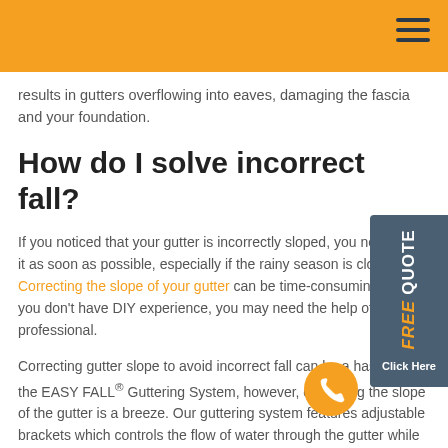results in gutters overflowing into eaves, damaging the fascia and your foundation.
How do I solve incorrect fall?
If you noticed that your gutter is incorrectly sloped, you need to fix it as soon as possible, especially if the rainy season is close. Correcting the slope of your gutter can be time-consuming and if you don't have DIY experience, you may need the help of a professional.
Correcting gutter slope to avoid incorrect fall can be a hassle. With the EASY FALL® Guttering System, however, correcting the slope of the gutter is a breeze. Our guttering system features adjustable brackets which controls the flow of water through the gutter while maintaining an aesthetically pleasing roofline.